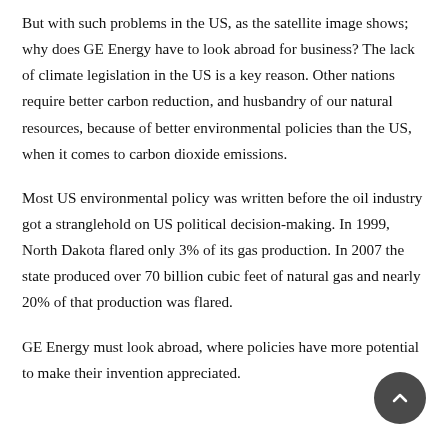But with such problems in the US, as the satellite image shows; why does GE Energy have to look abroad for business? The lack of climate legislation in the US is a key reason. Other nations require better carbon reduction, and husbandry of our natural resources, because of better environmental policies than the US, when it comes to carbon dioxide emissions.
Most US environmental policy was written before the oil industry got a stranglehold on US political decision-making. In 1999, North Dakota flared only 3% of its gas production. In 2007 the state produced over 70 billion cubic feet of natural gas and nearly 20% of that production was flared.
GE Energy must look abroad, where policies have more potential to make their invention appreciated.